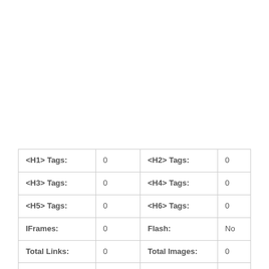| <H1> Tags: | 0 | <H2> Tags: | 0 |
| <H3> Tags: | 0 | <H4> Tags: | 0 |
| <H5> Tags: | 0 | <H6> Tags: | 0 |
| IFrames: | 0 | Flash: | No |
| Total Links: | 0 | Total Images: | 0 |
| Language: | French | Text/Html Ratio: | - |